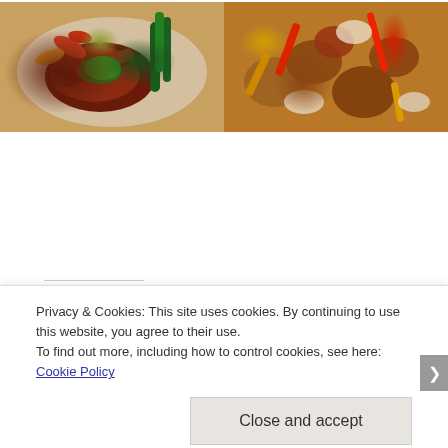[Figure (photo): Two food photos side by side: left shows a plated steak with chimichurri sauce, colorful bell peppers, and broccolini; right shows roasted vegetables with bell peppers, onions, and potatoes.]
Share this:
Privacy & Cookies: This site uses cookies. By continuing to use this website, you agree to their use.
To find out more, including how to control cookies, see here: Cookie Policy
Close and accept